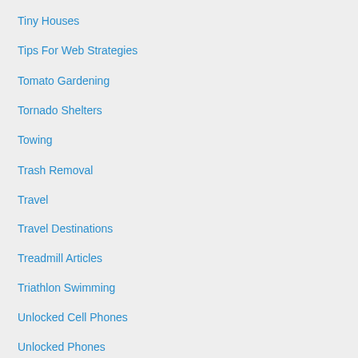Tiny Houses
Tips For Web Strategies
Tomato Gardening
Tornado Shelters
Towing
Trash Removal
Travel
Travel Destinations
Treadmill Articles
Triathlon Swimming
Unlocked Cell Phones
Unlocked Phones
Update Article For Fashion
User Experience